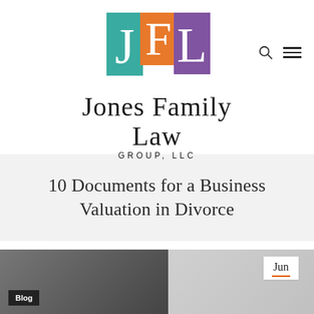[Figure (logo): Jones Family Law Group LLC logo: three colored squares (teal J, orange F, purple L) stacked vertically with large serif letters, above the text Jones Family Law Group, LLC]
10 Documents for a Business Valuation in Divorce
[Figure (photo): Blog article thumbnail image partially visible at bottom left, with 'Blog' badge overlay. A second thumbnail image partially visible at bottom right with 'Jun' date badge and orange underline.]